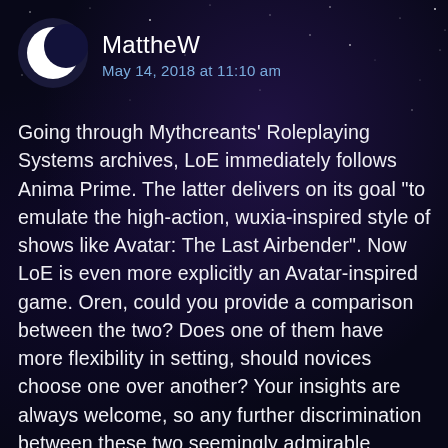[Figure (illustration): Crescent moon avatar icon — white crescent on dark navy circle background]
MattheW
May 14, 2018 at 11:10 am
Going through Mythcreants’ Roleplaying Systems archives, LoE immediately follows Anima Prime. The latter delivers on its goal “to emulate the high-action, wuxia-inspired style of shows like Avatar: The Last Airbender”. Now LoE is even more explicitly an Avatar-inspired game. Oren, could you provide a comparison between the two? Does one of them have more flexibility in setting, should novices choose one over another? Your insights are always welcome, so any further discrimination between these two seemingly admirable systems would be appreciated.